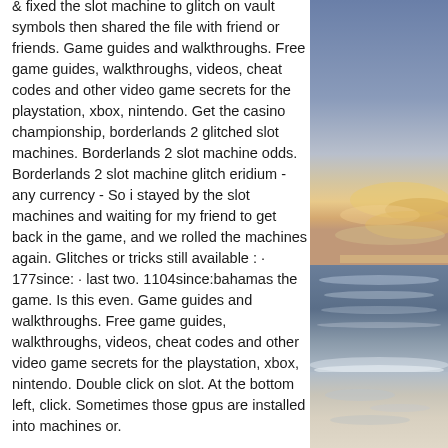&amp; fixed the slot machine to glitch on vault symbols then shared the file with friend or friends. Game guides and walkthroughs. Free game guides, walkthroughs, videos, cheat codes and other video game secrets for the playstation, xbox, nintendo. Get the casino championship, borderlands 2 glitched slot machines. Borderlands 2 slot machine odds. Borderlands 2 slot machine glitch eridium - any currency - So i stayed by the slot machines and waiting for my friend to get back in the game, and we rolled the machines again. Glitches or tricks still available : · 177since: · last two. 1104since:bahamas the game. Is this even. Game guides and walkthroughs. Free game guides, walkthroughs, videos, cheat codes and other video game secrets for the playstation, xbox, nintendo. Double click on slot. At the bottom left, click. Sometimes those gpus are installed into machines or.
[Figure (photo): A photo of a beach at sunset or sunrise, showing ocean waves, wet sand, and a cloudy sky with warm orange and pink hues near the horizon. The right side of the image is partially cut off.]